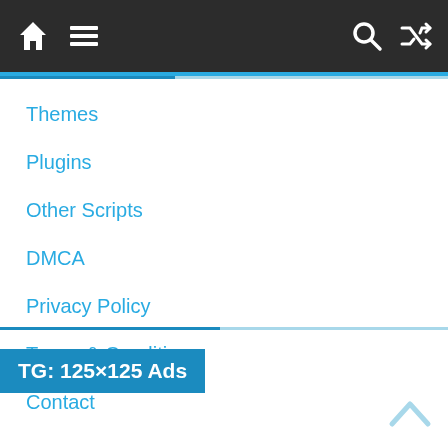Navigation bar with home icon, menu icon, search icon, and shuffle icon
Themes
Plugins
Other Scripts
DMCA
Privacy Policy
Terms & Conditions
Contact
TG: 125×125 Ads